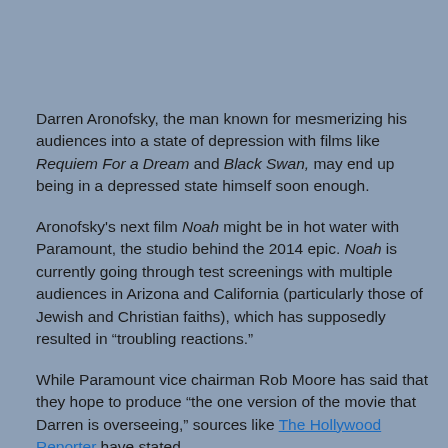Darren Aronofsky, the man known for mesmerizing his audiences into a state of depression with films like Requiem For a Dream and Black Swan, may end up being in a depressed state himself soon enough.
Aronofsky's next film Noah might be in hot water with Paramount, the studio behind the 2014 epic. Noah is currently going through test screenings with multiple audiences in Arizona and California (particularly those of Jewish and Christian faiths), which has supposedly resulted in “troubling reactions.”
While Paramount vice chairman Rob Moore has said that they hope to produce “the one version of the movie that Darren is overseeing,” sources like The Hollywood Reporter have stated